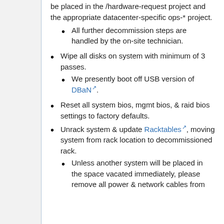be placed in the /hardware-request project and the appropriate datacenter-specific ops-* project.
All further decommission steps are handled by the on-site technician.
Wipe all disks on system with minimum of 3 passes.
We presently boot off USB version of DBaN.
Reset all system bios, mgmt bios, & raid bios settings to factory defaults.
Unrack system & update Racktables, moving system from rack location to decommissioned rack.
Unless another system will be placed in the space vacated immediately, please remove all power & network cables from